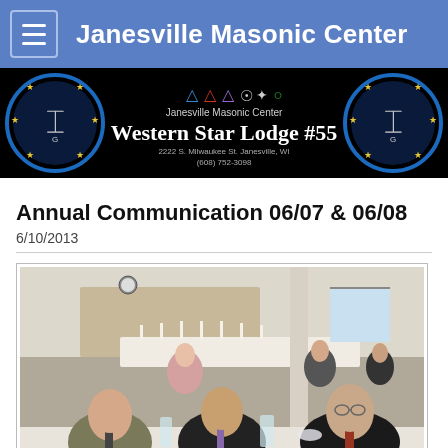Janesville Masonic Center
[Figure (logo): Janesville Masonic Center / Western Star Lodge #55 banner with Masonic symbols on black background]
Annual Communication 06/07 & 06/08
6/10/2013
[Figure (photo): Three men seated at a banquet table smiling at the camera, with other guests visible in the background at what appears to be a formal dinner event]